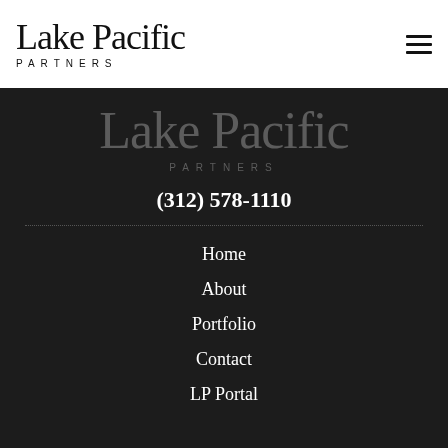[Figure (logo): Lake Pacific Partners logo in header bar — serif 'Lake Pacific' text with 'PARTNERS' in spaced caps below]
[Figure (logo): Lake Pacific Partners logo on dark background — grey serif 'Lake Pacific' text with 'PARTNERS' in spaced caps below]
(312) 578-1110
Home
About
Portfolio
Contact
LP Portal